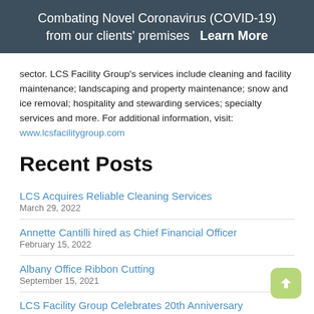Combating Novel Coronavirus (COVID-19) from our clients' premises  Learn More
sector. LCS Facility Group's services include cleaning and facility maintenance; landscaping and property maintenance; snow and ice removal; hospitality and stewarding services; specialty services and more. For additional information, visit: www.lcsfacilitygroup.com
Recent Posts
LCS Acquires Reliable Cleaning Services
March 29, 2022
Annette Cantilli hired as Chief Financial Officer
February 15, 2022
Albany Office Ribbon Cutting
September 15, 2021
LCS Facility Group Celebrates 20th Anniversary
September 1, 2021